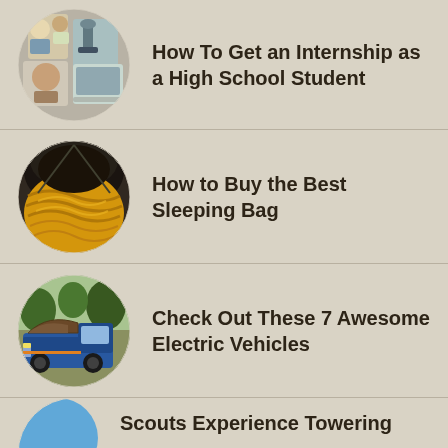How To Get an Internship as a High School Student
How to Buy the Best Sleeping Bag
Check Out These 7 Awesome Electric Vehicles
Scouts Experience Towering